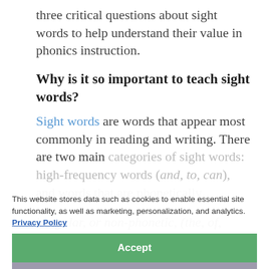three critical questions about sight words to help understand their value in phonics instruction.
Why is it so important to teach sight words?
Sight words are words that appear most commonly in reading and writing. There are two main categories of sight words: high-frequency words (and, to, can), and words that are phonetically irregular, or non-phonetic, (the, of, one, meaning they can't always be "sounded out" and aren't easily represented by pictures. For
This website stores data such as cookies to enable essential site functionality, as well as marketing, personalization, and analytics. Privacy Policy
Accept
Deny